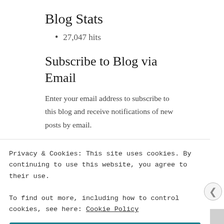Blog Stats
27,047 hits
Subscribe to Blog via Email
Enter your email address to subscribe to this blog and receive notifications of new posts by email.
Privacy & Cookies: This site uses cookies. By continuing to use this website, you agree to their use.
To find out more, including how to control cookies, see here: Cookie Policy
Close and accept